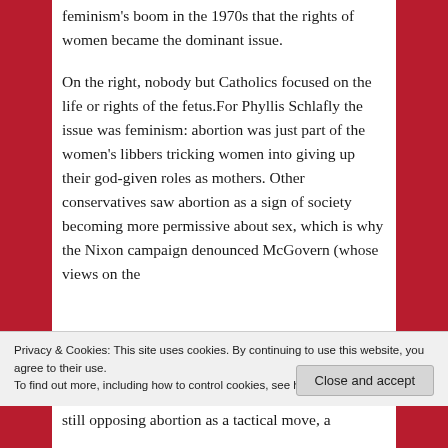feminism's boom in the 1970s that the rights of women became the dominant issue.
On the right, nobody but Catholics focused on the life or rights of the fetus.For Phyllis Schlafly the issue was feminism: abortion was just part of the women's libbers tricking women into giving up their god-given roles as mothers. Other conservatives saw abortion as a sign of society becoming more permissive about sex, which is why the Nixon campaign denounced McGovern (whose views on the
Privacy & Cookies: This site uses cookies. By continuing to use this website, you agree to their use.
To find out more, including how to control cookies, see here: Cookie Policy
Close and accept
still opposing abortion as a tactical move, a